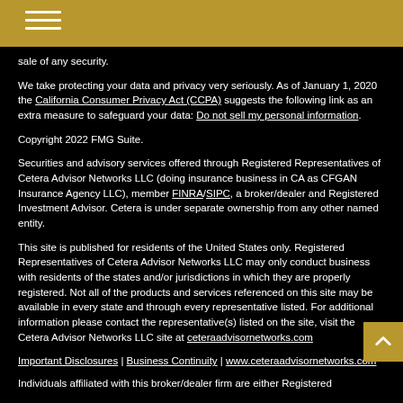Navigation menu
sale of any security.
We take protecting your data and privacy very seriously. As of January 1, 2020 the California Consumer Privacy Act (CCPA) suggests the following link as an extra measure to safeguard your data: Do not sell my personal information.
Copyright 2022 FMG Suite.
Securities and advisory services offered through Registered Representatives of Cetera Advisor Networks LLC (doing insurance business in CA as CFGAN Insurance Agency LLC), member FINRA/SIPC, a broker/dealer and Registered Investment Advisor. Cetera is under separate ownership from any other named entity.
This site is published for residents of the United States only. Registered Representatives of Cetera Advisor Networks LLC may only conduct business with residents of the states and/or jurisdictions in which they are properly registered. Not all of the products and services referenced on this site may be available in every state and through every representative listed. For additional information please contact the representative(s) listed on the site, visit the Cetera Advisor Networks LLC site at ceteraadvisornetworks.com
Important Disclosures | Business Continuity | www.ceteraadvisornetworks.com
Individuals affiliated with this broker/dealer firm are either Registered